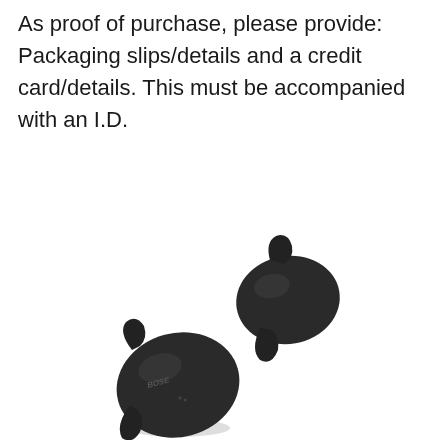As proof of purchase, please provide: Packaging slips/details and a credit card/details. This must be accompanied with an I.D.
[Figure (photo): Two Bose Sport Earbuds (true wireless earbuds) in black, shown floating against a white background. The left earbud is larger and positioned lower-left, the right earbud is smaller and positioned upper-right. Both show the Bose logo and ear tip wings.]